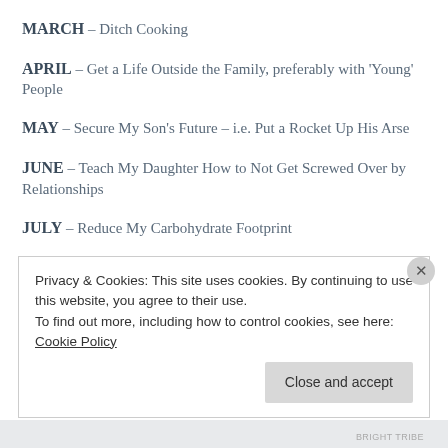MARCH – Ditch Cooking
APRIL – Get a Life Outside the Family, preferably with 'Young' People
MAY – Secure My Son's Future – i.e. Put a Rocket Up His Arse
JUNE – Teach My Daughter How to Not Get Screwed Over by Relationships
JULY – Reduce My Carbohydrate Footprint
Privacy & Cookies: This site uses cookies. By continuing to use this website, you agree to their use. To find out more, including how to control cookies, see here: Cookie Policy
Close and accept